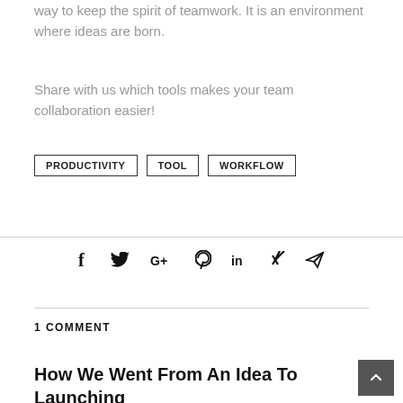way to keep the spirit of teamwork. It is an environment where ideas are born.
Share with us which tools makes your team collaboration easier!
PRODUCTIVITY
TOOL
WORKFLOW
[Figure (infographic): Social sharing icons: Facebook (f), Twitter, Google+, Pinterest, LinkedIn, Xing, Telegram/send]
1 COMMENT
How We Went From An Idea To Launching